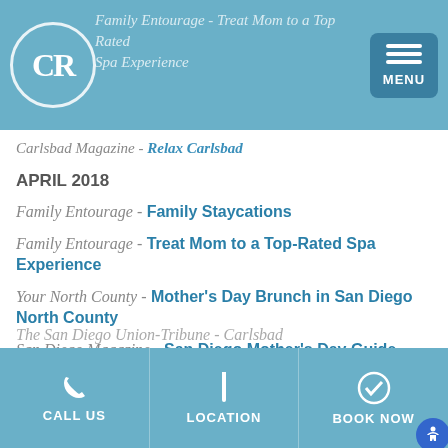Family Entourage - Treat Mom to a Top Rated Spa Experience
Carlsbad Magazine - Relax Carlsbad
APRIL 2018
Family Entourage - Family Staycations
Family Entourage - Treat Mom to a Top-Rated Spa Experience
Your North County - Mother's Day Brunch in San Diego North County
San Diego Magazine - San Diego Mother's Day Guide 2018
The San Diego Union-Tribune - Carlsbad
CALL US | LOCATION | BOOK NOW